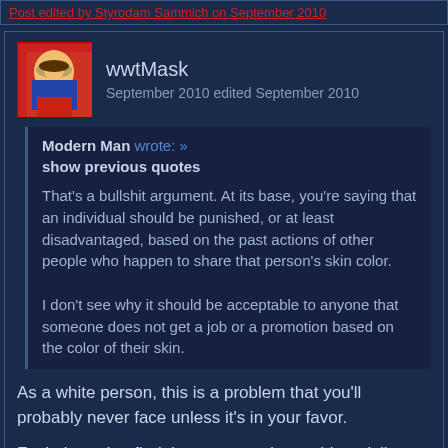Post edited by Styrodam Sammich on September 2010
wwtMask
September 2010 edited September 2010
Modern Man wrote: »
show previous quotes
That's a bullshit argument. At its base, you're saying that an individual should be punished, or at least disadvantaged, based on the past actions of other people who happen to share that person's skin color.

I don't see why it should be acceptable to anyone that someone does not get a job or a promotion based on the color of their skin.
As a white person, this is a problem that you'll probably never face unless it's in your favor.

Fuck, I need to find that cartoon about white privilege and tattoo it on the brains of people who make simplistic